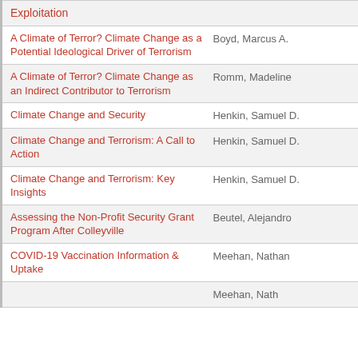| Title | Author |
| --- | --- |
| Exploitation |  |
| A Climate of Terror? Climate Change as a Potential Ideological Driver of Terrorism | Boyd, Marcus A. |
| A Climate of Terror? Climate Change as an Indirect Contributor to Terrorism | Romm, Madeline |
| Climate Change and Security | Henkin, Samuel D. |
| Climate Change and Terrorism: A Call to Action | Henkin, Samuel D. |
| Climate Change and Terrorism: Key Insights | Henkin, Samuel D. |
| Assessing the Non-Profit Security Grant Program After Colleyville | Beutel, Alejandro |
| COVID-19 Vaccination Information & Uptake | Meehan, Nathan |
|  | Meehan, Nath... |